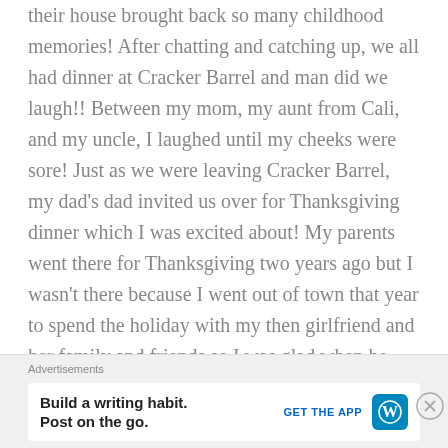their house brought back so many childhood memories! After chatting and catching up, we all had dinner at Cracker Barrel and man did we laugh!! Between my mom, my aunt from Cali, and my uncle, I laughed until my cheeks were sore! Just as we were leaving Cracker Barrel, my dad's dad invited us over for Thanksgiving dinner which I was excited about! My parents went there for Thanksgiving two years ago but I wasn't there because I went out of town that year to spend the holiday with my then girlfriend and her family and friends so I was glad when he called and extended the invitation to us. Thanksgiving day came and we joined my grandad for dinner later that day. I
Advertisements
Build a writing habit. Post on the go.   GET THE APP